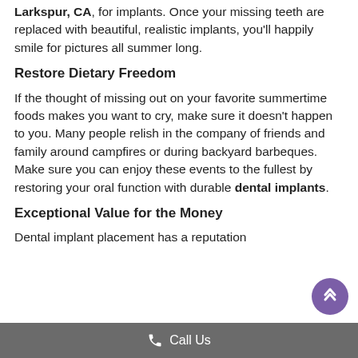Larkspur, CA, for implants. Once your missing teeth are replaced with beautiful, realistic implants, you'll happily smile for pictures all summer long.
Restore Dietary Freedom
If the thought of missing out on your favorite summertime foods makes you want to cry, make sure it doesn't happen to you. Many people relish in the company of friends and family around campfires or during backyard barbeques. Make sure you can enjoy these events to the fullest by restoring your oral function with durable dental implants.
Exceptional Value for the Money
Dental implant placement has a reputation
Call Us